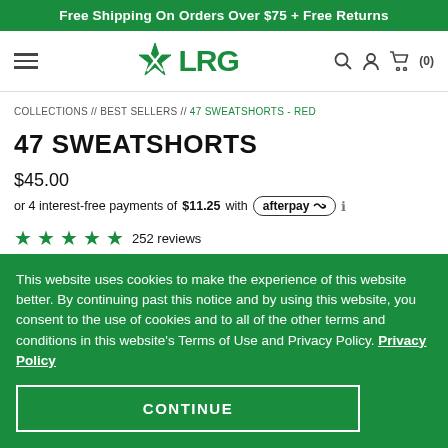Free Shipping On Orders Over $75 + Free Returns
[Figure (logo): LRG brand logo with a stylized leaf/star icon, navigation hamburger menu, search icon, user icon, and cart icon showing (0)]
COLLECTIONS // BEST SELLERS // 47 SWEATSHORTS - RED
47 SWEATSHORTS
$45.00
or 4 interest-free payments of $11.25 with afterpay ℹ
★★★★★ 252 reviews
This website uses cookies to make the experience of this website better. By continuing past this notice and by using this website, you consent to the use of cookies and to all of the other terms and conditions in this website's Terms of Use and Privacy Policy. Privacy Policy
CONTINUE